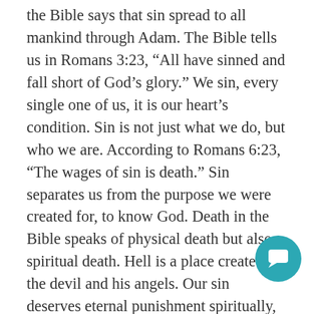the Bible says that sin spread to all mankind through Adam. The Bible tells us in Romans 3:23, “All have sinned and fall short of God’s glory.” We sin, every single one of us, it is our heart’s condition. Sin is not just what we do, but who we are. According to Romans 6:23, “The wages of sin is death.” Sin separates us from the purpose we were created for, to know God. Death in the Bible speaks of physical death but also spiritual death. Hell is a place created for the devil and his angels. Our sin deserves eternal punishment spiritually, mentally, and physically in a very real place called hell. Hell is that bad because God is that good. (Genesis 2, Genesis 3, Romans 3, Romans 5, Romans 6) Absolutely nothing we do, can save us from judgment that we rightly deserve before the good